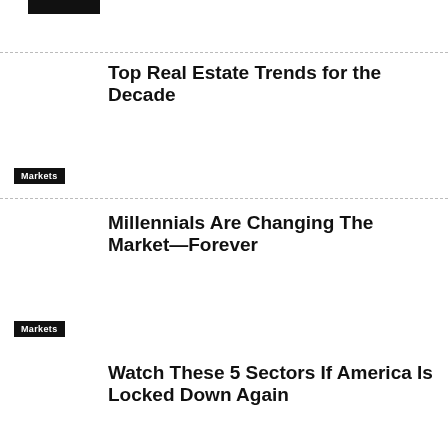[Figure (other): Black rectangular bar at top left, partial view of a thumbnail image placeholder]
Top Real Estate Trends for the Decade
Markets
Millennials Are Changing The Market—Forever
Markets
Watch These 5 Sectors If America Is Locked Down Again